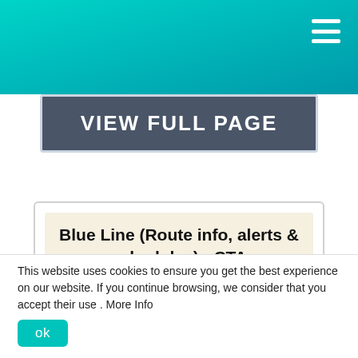VIEW FULL PAGE
Blue Line (Route info, alerts & schedules) - CTA
No Forest Park-bound Blue Line trains O'Hare-Rosemont, midnight to 4am, nightly. Trains still run to O'Hare stn & rest of line 24/7  bus O'Hare-
This website uses cookies to ensure you get the best experience on our website. If you continue browsing, we consider that you accept their use . More Info